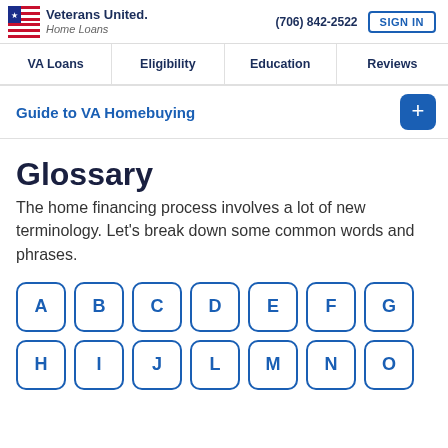Veterans United Home Loans | (706) 842-2522 | SIGN IN
VA Loans | Eligibility | Education | Reviews
Guide to VA Homebuying
Glossary
The home financing process involves a lot of new terminology. Let's break down some common words and phrases.
A B C D E F G
H I J L M N O